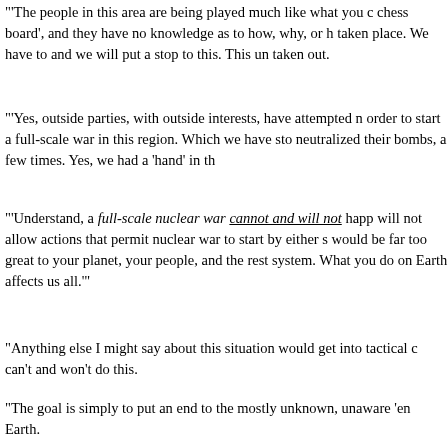"'The people in this area are being played much like what you chess board', and they have no knowledge as to how, why, or h taken place. We have to and we will put a stop to this. This un taken out.
"'Yes, outside parties, with outside interests, have attempted n order to start a full-scale war in this region. Which we have sto neutralized their bombs, a few times. Yes, we had a 'hand' in th
"'Understand, a full-scale nuclear war cannot and will not happ will not allow actions that permit nuclear war to start by either s would be far too great to your planet, your people, and the rest system. What you do on Earth affects us all.'"
"Anything else I might say about this situation would get into tactical c can't and won't do this.
"The goal is simply to put an end to the mostly unknown, unaware 'en Earth.
"And the end of this war in space is concluding with the destruction of undersea bases on Earth, and removal of these malevolent Reptilians associates from our world.
"Earth IS our planet. And we have a right to be free, sovereign people
[END OF OCT. 26, 2011 STATEMEN
Read the full statement: Andromeda Council - Removing Reptilian undersea